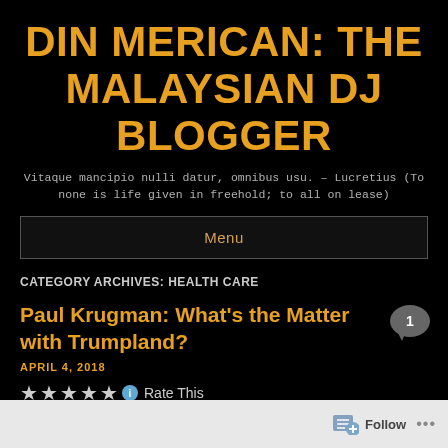DIN MERICAN: THE MALAYSIAN DJ BLOGGER
Vitaque mancipio nulli datur, omnibus usu. – Lucretius (To none is life given in freehold; to all on lease)
Menu
CATEGORY ARCHIVES: HEALTH CARE
Paul Krugman: What's the Matter with Trumpland?
APRIL 4, 2018
Rate This
April 4, 2018
Follow